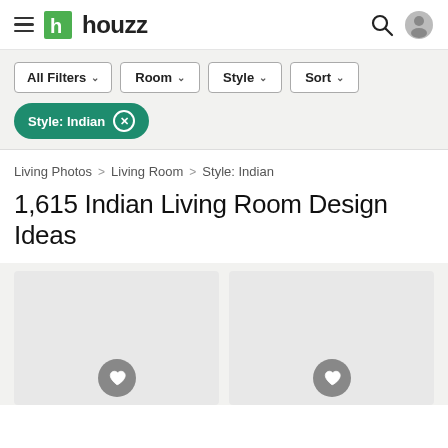[Figure (logo): Houzz website header with hamburger menu, green Houzz logo, search icon and user profile icon]
All Filters  Room  Style  Sort
Style: Indian ×
Living Photos > Living Room > Style: Indian
1,615 Indian Living Room Design Ideas
[Figure (photo): Two image tiles with heart/save buttons at the bottom center of each tile]